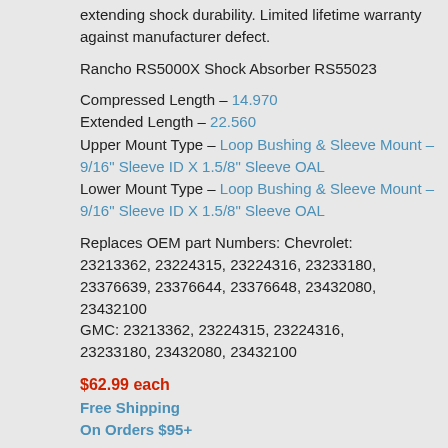extending shock durability. Limited lifetime warranty against manufacturer defect.
Rancho RS5000X Shock Absorber RS55023
Compressed Length – 14.970
Extended Length – 22.560
Upper Mount Type – Loop Bushing & Sleeve Mount – 9/16" Sleeve ID X 1.5/8" Sleeve OAL
Lower Mount Type – Loop Bushing & Sleeve Mount – 9/16" Sleeve ID X 1.5/8" Sleeve OAL
Replaces OEM part Numbers: Chevrolet: 23213362, 23224315, 23224316, 23233180, 23376639, 23376644, 23376648, 23432080, 23432100
GMC: 23213362, 23224315, 23224316, 23233180, 23432080, 23432100
$62.99 each
Free Shipping
On Orders $95+